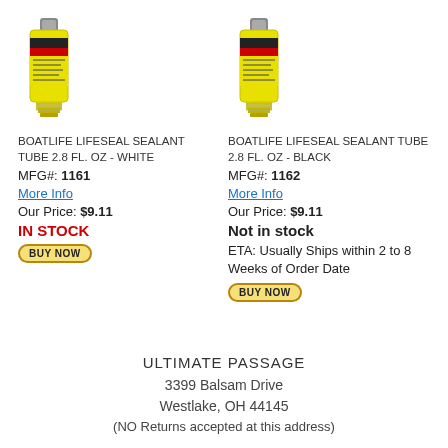[Figure (photo): Boatlife Lifeseal Sealant tube product image - white variant]
BOATLIFE LIFESEAL SEALANT TUBE 2.8 FL. OZ - WHITE
MFG#: 1161
More Info
Our Price: $9.11
IN STOCK
BUY NOW
[Figure (photo): Boatlife Lifeseal Sealant tube product image - black variant]
BOATLIFE LIFESEAL SEALANT TUBE 2.8 FL. OZ - BLACK
MFG#: 1162
More Info
Our Price: $9.11
Not in stock
ETA: Usually Ships within 2 to 8 Weeks of Order Date
BUY NOW
ULTIMATE PASSAGE
3399 Balsam Drive
Westlake, OH 44145
(NO Returns accepted at this address)